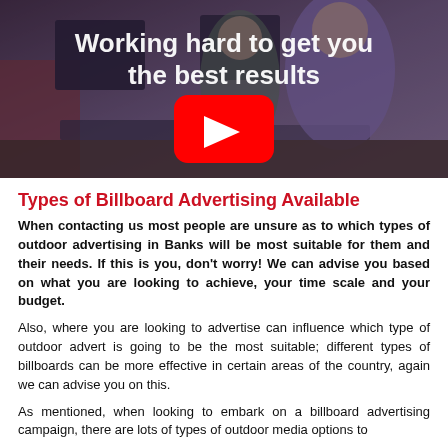[Figure (screenshot): YouTube video thumbnail showing people working at computers with text 'Working hard to get you the best results' and a YouTube play button overlay]
Types of Billboard Advertising Available
When contacting us most people are unsure as to which types of outdoor advertising in Banks will be most suitable for them and their needs. If this is you, don't worry! We can advise you based on what you are looking to achieve, your time scale and your budget.
Also, where you are looking to advertise can influence which type of outdoor advert is going to be the most suitable; different types of billboards can be more effective in certain areas of the country, again we can advise you on this.
As mentioned, when looking to embark on a billboard advertising campaign, there are lots of types of outdoor media options to